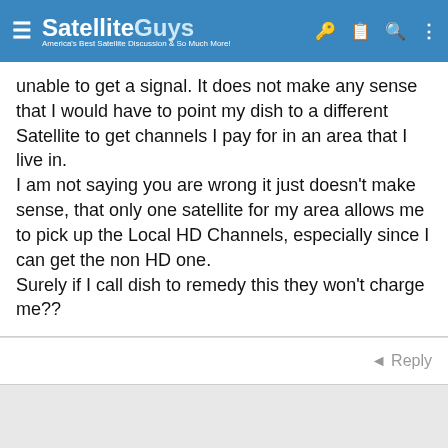SatelliteGuys — America's Best Satellite Discussion & So Much More!
unable to get a signal. It does not make any sense that I would have to point my dish to a different Satellite to get channels I pay for in an area that I live in.
I am not saying you are wrong it just doesn't make sense, that only one satellite for my area allows me to pick up the Local HD Channels, especially since I can get the non HD one.
Surely if I call dish to remedy this they won't charge me??
Reply